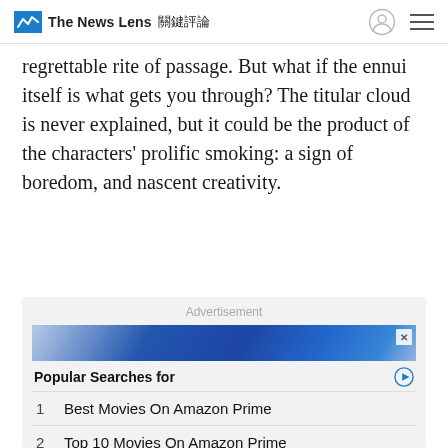The News Lens 關鍵評論
regrettable rite of passage. But what if the ennui itself is what gets you through? The titular cloud is never explained, but it could be the product of the characters' prolific smoking: a sign of boredom, and nascent creativity.
[Figure (screenshot): Advertisement section with Yahoo Search sponsored results. Shows 'Popular Searches for' header with two results: 1. Best Movies On Amazon Prime, 2. Top 10 Movies On Amazon Prime. Yahoo! Search | Sponsored footer.]